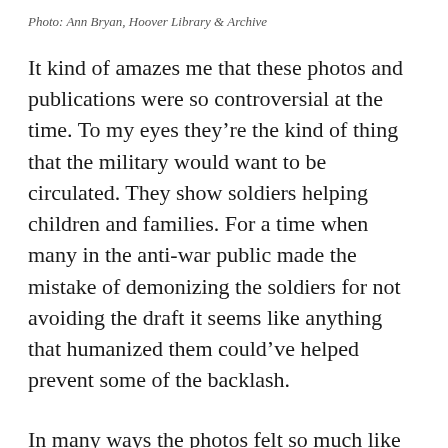Photo: Ann Bryan, Hoover Library & Archive
It kind of amazes me that these photos and publications were so controversial at the time. To my eyes they’re the kind of thing that the military would want to be circulated. They show soldiers helping children and families. For a time when many in the anti-war public made the mistake of demonizing the soldiers for not avoiding the draft it seems like anything that humanized them could’ve helped prevent some of the backlash.
In many ways the photos felt so much like propaganda for making the soldiers and mission sympathetic that I couldn’t help but